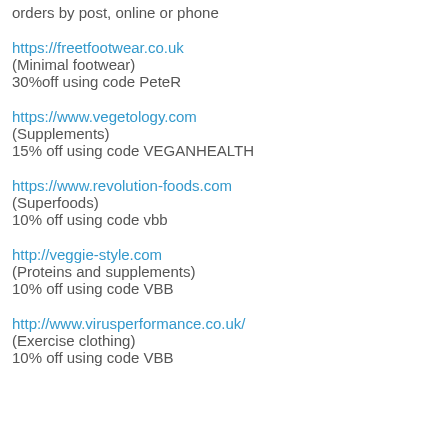orders by post, online or phone
https://freetfootwear.co.uk
(Minimal footwear)
30%off using code PeteR
https://www.vegetology.com
(Supplements)
15% off using code VEGANHEALTH
https://www.revolution-foods.com
(Superfoods)
10% off using code vbb
http://veggie-style.com
(Proteins and supplements)
10% off using code VBB
http://www.virusperformance.co.uk/
(Exercise clothing)
10% off using code VBB